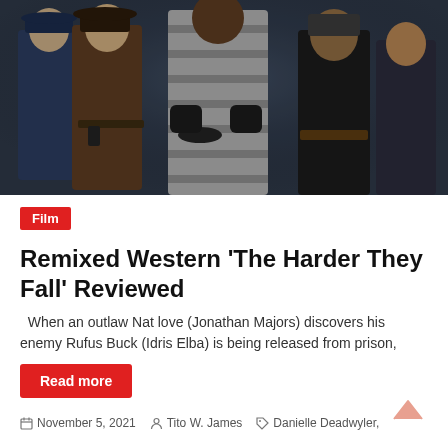[Figure (photo): Promotional/still photo from 'The Harder They Fall' showing five characters in period western costumes against a dark background. Characters include people in Civil War-era uniforms, striped prison clothing, and frontier attire.]
Film
Remixed Western 'The Harder They Fall' Reviewed
When an outlaw Nat love (Jonathan Majors) discovers his enemy Rufus Buck (Idris Elba) is being released from prison,
Read more
November 5, 2021   Tito W. James   Danielle Deadwyler,